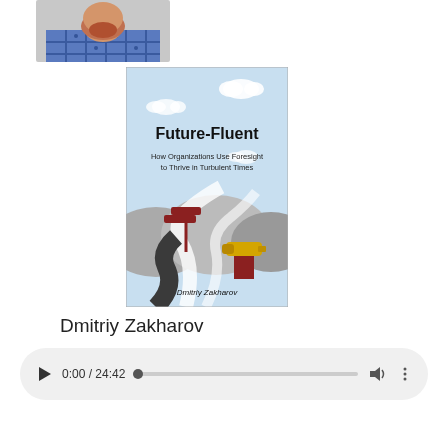[Figure (photo): Cropped photo of a man with red beard wearing a blue plaid shirt, upper portion of face cropped out]
[Figure (illustration): Book cover of 'Future-Fluent: How Organizations Use Foresight to Thrive in Turbulent Times' by Dmitriy Zakharov. Light blue sky background with winding roads, a signpost and a telescope on a red pedestal.]
Dmitriy Zakharov
[Figure (screenshot): Audio player UI showing play button, time 0:00 / 24:42, progress bar, volume icon, and more options icon]